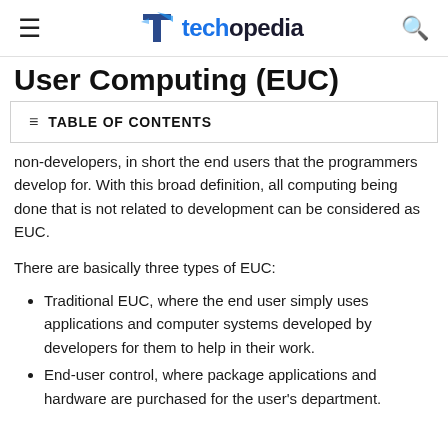techopedia
User Computing (EUC)
TABLE OF CONTENTS
non-developers, in short the end users that the programmers develop for. With this broad definition, all computing being done that is not related to development can be considered as EUC.
There are basically three types of EUC:
Traditional EUC, where the end user simply uses applications and computer systems developed by developers for them to help in their work.
End-user control, where package applications and hardware are purchased for the user's department.